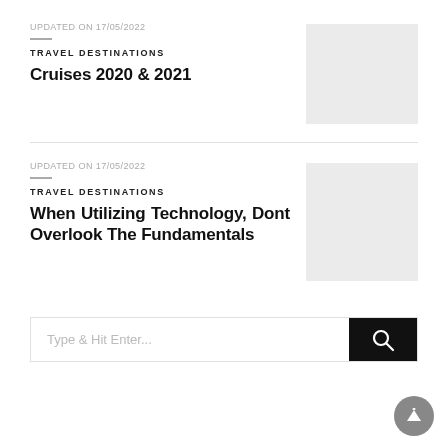UPDATED ON 17/05/2022
TRAVEL DESTINATIONS
Cruises 2020 & 2021
[Figure (other): Gray placeholder thumbnail image]
UPDATED ON 17/05/2022
TRAVEL DESTINATIONS
When Utilizing Technology, Dont Overlook The Fundamentals
[Figure (other): Gray placeholder thumbnail image]
Type & Hit Enter...
[Figure (other): Search icon button (white magnifying glass on black background)]
[Figure (other): Scroll to top button (upward arrow on gray circle)]